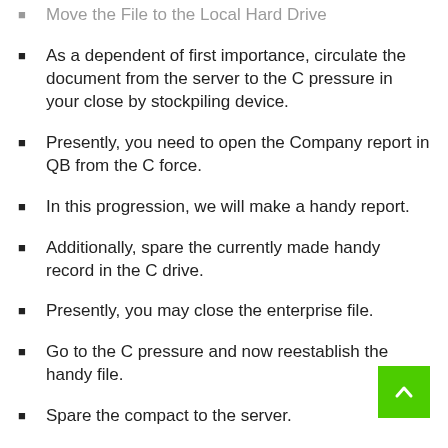Move the File to the Local Hard Drive
As a dependent of first importance, circulate the document from the server to the C pressure in your close by stockpiling device.
Presently, you need to open the Company report in QB from the C force.
In this progression, we will make a handy report.
Additionally, spare the currently made handy record in the C drive.
Presently, you may close the enterprise file.
Go to the C pressure and now reestablish the handy file.
Spare the compact to the server.